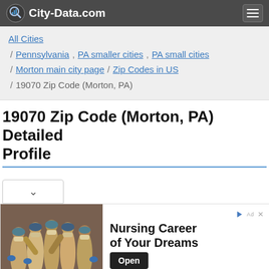City-Data.com
All Cities / Pennsylvania , PA smaller cities , PA small cities / Morton main city page / Zip Codes in US / 19070 Zip Code (Morton, PA)
19070 Zip Code (Morton, PA) Detailed Profile
[Figure (screenshot): Advertisement banner showing nursing staff in PPE with text 'Nursing Career of Your Dreams' and an Open button, sponsored by St. Charles Health System]